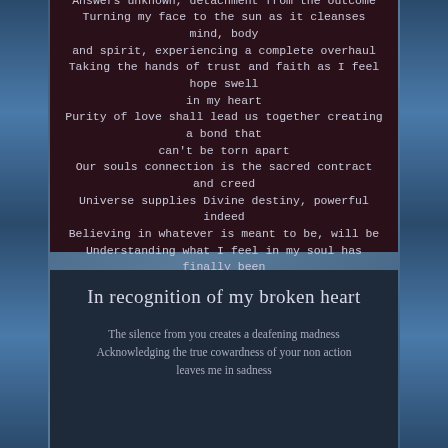Remaining fluid as water allowing what will be to leave a clue
Answers unknown, detachment from the outcome
Turning my face to the sun as it cleanses mind, body and spirit, experiencing a complete overhaul
Taking the hands of trust and faith as I feel hope swell in my heart
Purity of love shall lead us together creating a bond that can't be torn apart
Our souls connection is the sacred contract and creed
Universe supplies Divine destiny, powerful indeed
Believing in whatever is meant to be, will be
Understanding what I feel in my soul has finally been freed
©mariateresa
In recognition of my broken heart
The silence from you creates a deafening madness
Acknowledging the true cowardness of your non action leaves me in sadness